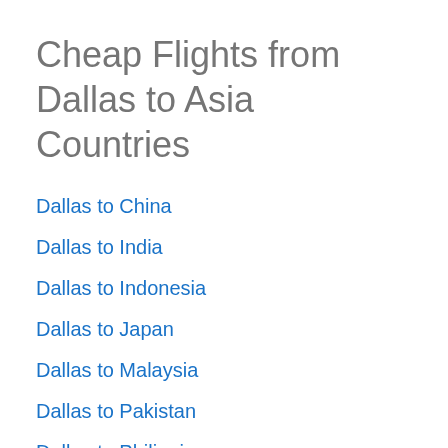Cheap Flights from Dallas to Asia Countries
Dallas to China
Dallas to India
Dallas to Indonesia
Dallas to Japan
Dallas to Malaysia
Dallas to Pakistan
Dallas to Philippines